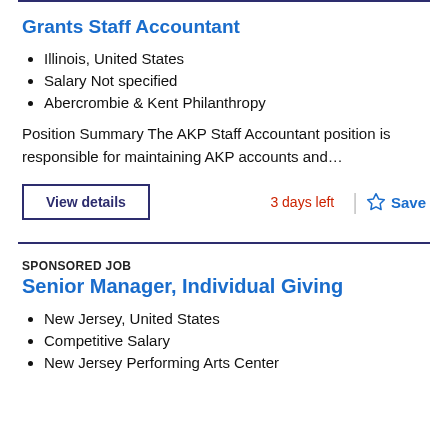Grants Staff Accountant
Illinois, United States
Salary Not specified
Abercrombie & Kent Philanthropy
Position Summary The AKP Staff Accountant position is responsible for maintaining AKP accounts and…
View details
3 days left
Save
SPONSORED JOB
Senior Manager, Individual Giving
New Jersey, United States
Competitive Salary
New Jersey Performing Arts Center